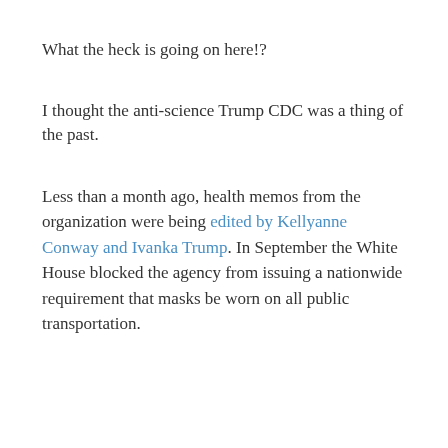What the heck is going on here!?
I thought the anti-science Trump CDC was a thing of the past.
Less than a month ago, health memos from the organization were being edited by Kellyanne Conway and Ivanka Trump. In September the White House blocked the agency from issuing a nationwide requirement that masks be worn on all public transportation.